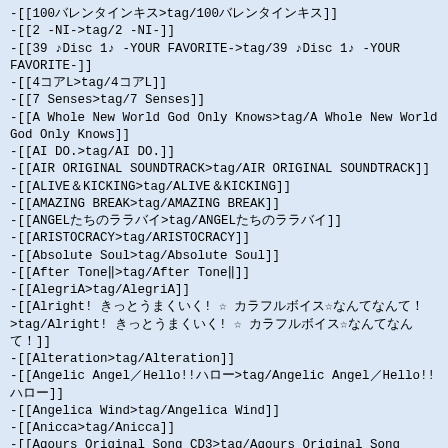-[[100バレンタインキス>tag/100バレンタインキス]]
-[[2 -NI->tag/2 -NI-]]
-[[39 ♪Disc 1♪ -YOUR FAVORITE->tag/39 ♪Disc 1♪ -YOUR FAVORITE-]]
-[[4コアL>tag/4コアL]]
-[[7 Senses>tag/7 Senses]]
-[[A Whole New World God Only Knows>tag/A Whole New World God Only Knows]]
-[[AI DO.>tag/AI DO.]]
-[[AIR ORIGINAL SOUNDTRACK>tag/AIR ORIGINAL SOUNDTRACK]]
-[[ALIVE＆KICKING>tag/ALIVE＆KICKING]]
-[[AMAZING BREAK>tag/AMAZING BREAK]]
-[[ANGELたちのララバイ>tag/ANGELたちのララバイ]]
-[[ARISTOCRACY>tag/ARISTOCRACY]]
-[[Absolute Soul>tag/Absolute Soul]]
-[[After Tone‖>tag/After Tone‖]]
-[[AlegriA>tag/AlegriA]]
-[[Alright! きっとうまくいく! ☆ カラフルボイス☆なんてなんて！>tag/Alright! きっとうまくいく! ☆ カラフルボイス☆なんてなんて！]]
-[[Alteration>tag/Alteration]]
-[[Angelic Angel／Hello!!ハロー>tag/Angelic Angel／Hello!!ハロー]]
-[[Angelica Wind>tag/Angelica Wind]]
-[[Anicca>tag/Anicca]]
-[[Aqours Original Song CD3>tag/Aqours Original Song CD3]]
-[[Aurora Days>tag/Aurora Days]]
-[[Awaken the power>tag/Awaken the power]]
-[[BAKA BOUQUET>tag/BAKA BOUQUET]]